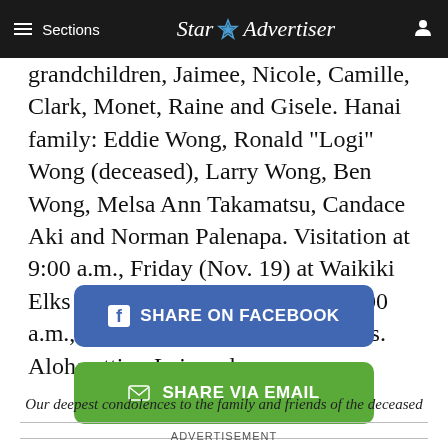≡ Sections | Star Advertiser
grandchildren, Jaimee, Nicole, Camille, Clark, Monet, Raine and Gisele. Hanai family: Eddie Wong, Ronald "Logi" Wong (deceased), Larry Wong, Ben Wong, Melsa Ann Takamatsu, Candace Aki and Norman Palenapa. Visitation at 9:00 a.m., Friday (Nov. 19) at Waikiki Elks Club. Memorial service at 10:00 a.m., followed by scattering of ashes. Aloha attire. Leis welcome.
[Figure (other): Share on Facebook button (blue rounded rectangle)]
[Figure (other): Share via Email button (green rounded rectangle)]
Our deepest condolences to the family and friends of the deceased
ADVERTISEMENT